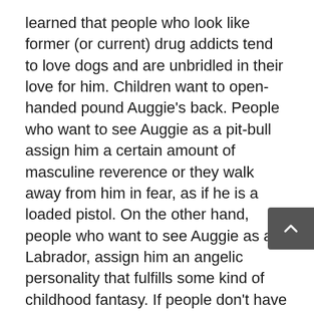learned that people who look like former (or current) drug addicts tend to love dogs and are unbridled in their love for him. Children want to open-handed pound Auggie's back. People who want to see Auggie as a pit-bull assign him a certain amount of masculine reverence or they walk away from him in fear, as if he is a loaded pistol. On the other hand, people who want to see Auggie as a Labrador, assign him an angelic personality that fulfills some kind of childhood fantasy. If people don't have a dog, they will comment on Auggie's coat. If people do have a dog, they will ask questions about his poo. When I was single, I had hoped that Auggie would be a good wingman, but I soon found out that Auggie will sniff and be adorable around homeless men, but pretty women, he ignores.
People on the street will comment on a dog in the